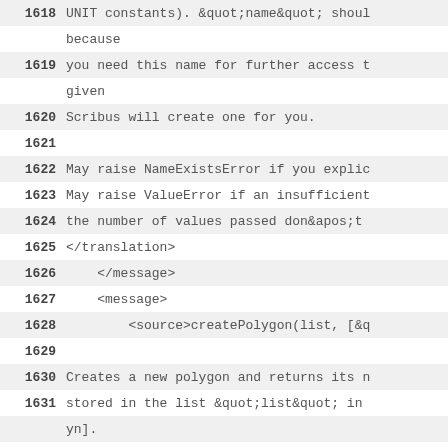1618  UNIT constants). &quot;name&quot; shou... because
1619  you need this name for further access t... given
1620  Scribus will create one for you.
1621  (empty)
1622  May raise NameExistsError if you explic...
1623  May raise ValueError if an insufficient...
1624  the number of values passed don&apos;t...
1625  </translation>
1626      </message>
1627      <message>
1628          <source>createPolygon(list, [&q...
1629  (empty)
1630  Creates a new polygon and returns its n...
1631  stored in the list &quot;list&quot; in ... yn].
1632  At least three points are required. The...
1633  to close the polygon. The polygon is au...
1634  first and the last point.  The coordina...
1635  units of the document (see UNIT constan...